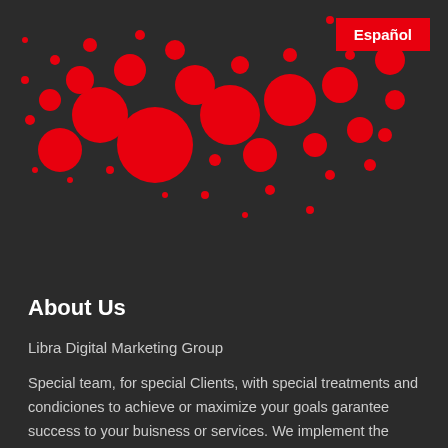[Figure (illustration): Dark background with scattered red circles of various sizes arranged in a loose arc pattern in the upper-left portion of the page, suggesting a decorative dot/bubble graphic element.]
Español
About Us
Libra Digital Marketing Group
Special team, for special Clients, with special treatments and condiciones to achieve or maximize your goals garantee success to your buisness or services. We implement the most advanced technological method of marketing. Where science and technology are well mixed into a highly sophisticated and easy to use platform.